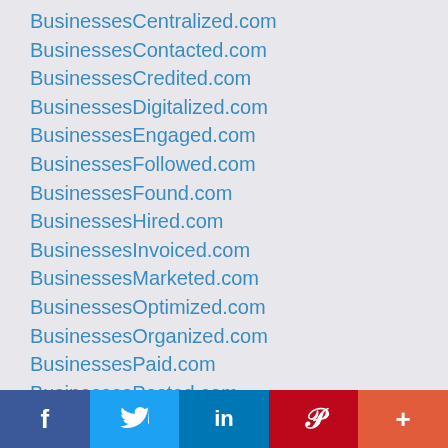BusinessesCentralized.com
BusinessesContacted.com
BusinessesCredited.com
BusinessesDigitalized.com
BusinessesEngaged.com
BusinessesFollowed.com
BusinessesFound.com
BusinessesHired.com
BusinessesInvoiced.com
BusinessesMarketed.com
BusinessesOptimized.com
BusinessesOrganized.com
BusinessesPaid.com
BusinessesPosted.com
BusinessesPromoted.com
BusinessesReviewed.com
BusinessesScheduled.com
BusinessesServiced.com
[Figure (infographic): Social sharing bar with Facebook, Twitter, LinkedIn, Pinterest, and More buttons]